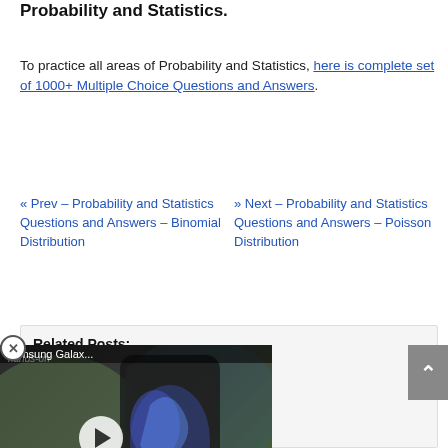Probability and Statistics.
To practice all areas of Probability and Statistics, here is complete set of 1000+ Multiple Choice Questions and Answers.
« Prev - Probability and Statistics Questions and Answers – Binomial Distribution
» Next - Probability and Statistics Questions and Answers – Poisson Distribution
Related Posts:
...neering Subjects Internship
...d Statistics Internship
...athematics MCQ
...tistics Books
Practice Numerical Methods MCQ
[Figure (screenshot): Samsung Galaxy Z Fold 4 hands-on video ad overlay with play button]